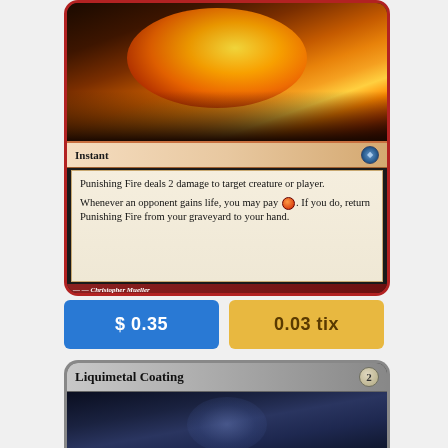[Figure (illustration): Magic: The Gathering card 'Punishing Fire' - a red Instant card showing a figure hurling fire. Card text reads: 'Punishing Fire deals 2 damage to target creature or player. Whenever an opponent gains life, you may pay [red mana]. If you do, return Punishing Fire from your graveyard to your hand.' Illustrated by Christopher Mueller.]
$ 0.35
0.03 tix
[Figure (illustration): Partial Magic: The Gathering card 'Liquimetal Coating' - an artifact card with mana cost 2, showing blue-toned artwork at the bottom of the page.]